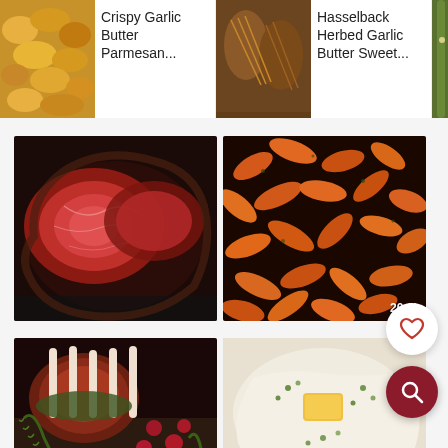[Figure (screenshot): Recipe app screenshot showing food cards in a horizontal strip at top: Crispy Garlic Butter Parmesan..., Hasselback Herbed Garlic Butter Sweet..., Crispy Parmesan Asparagus. Below are grid food photos: sliced beef roast, roasted carrots with 20.3k save count, herb-crusted rack of lamb with cranberries, creamy mashed potatoes with butter. Heart and search floating action buttons visible.]